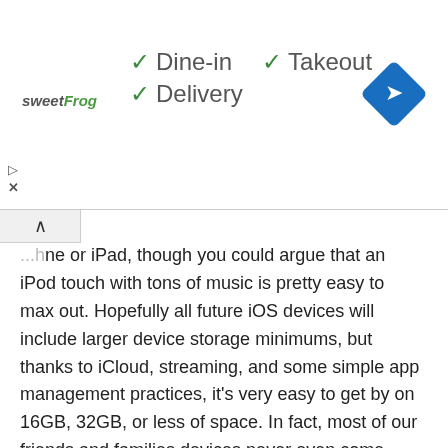[Figure (screenshot): Ad banner for sweetFrog restaurant showing checkmarks for Dine-in, Takeout, and Delivery options, with a navigation/directions icon in the top right corner]
...hone or iPad, though you could argue that an iPod touch with tons of music is pretty easy to max out. Hopefully all future iOS devices will include larger device storage minimums, but thanks to iCloud, streaming, and some simple app management practices, it's very easy to get by on 16GB, 32GB, or less of space. In fact, most of our friends and families devices never even come close to approaching their storage limits, which is why we recommended the 16GB iPad for new buyers, or just going for the smaller storage device in general if it's an iPad. Of course if it's an iPhone that acts as your primary camera and video capture device, you may want a bigger storage capacity, whether that's 64gb, 128gb, or 256gb.